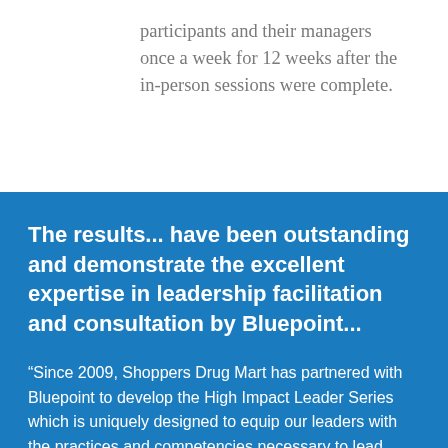participants and their managers once a week for 12 weeks after the in-person sessions were complete.
The results... have been outstanding and demonstrate the excellent expertise in leadership facilitation and consultation by Bluepoint...
“Since 2009, Shoppers Drug Mart has partnered with Bluepoint to develop the High Impact Leader Series which is uniquely designed to equip our leaders with the practices and competencies necessary to lead successfully at the individual, team and organizational